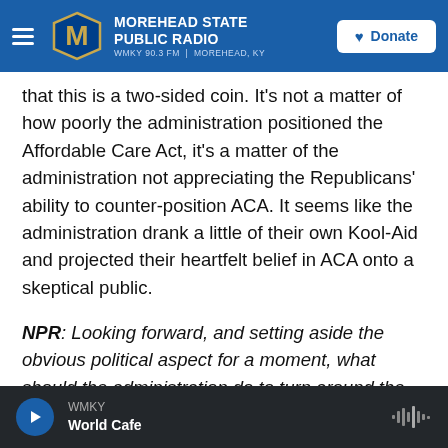MOREHEAD STATE PUBLIC RADIO — WMKY 90.3 FM | MOREHEAD, KY — Donate
that this is a two-sided coin. It's not a matter of how poorly the administration positioned the Affordable Care Act, it's a matter of the administration not appreciating the Republicans' ability to counter-position ACA. It seems like the administration drank a little of their own Kool-Aid and projected their heartfelt belief in ACA onto a skeptical public.
NPR: Looking forward, and setting aside the obvious political aspect for a moment, what should the administration do to turn around the conversation about Obamacare from "a disaster" to, at the very least, something along the lines of "a
WMKY — World Cafe